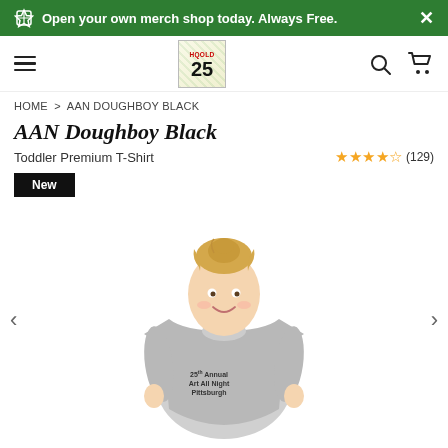Open your own merch shop today. Always Free.
[Figure (logo): Spreadshirt 25th anniversary stamp logo badge]
HOME > AAN DOUGHBOY BLACK
AAN Doughboy Black
Toddler Premium T-Shirt
★★★★½ (129)
New
[Figure (photo): A young blonde toddler child wearing a grey t-shirt with the 25th Annual Art All Night Pittsburgh design printed on it. The child is smiling at the camera.]